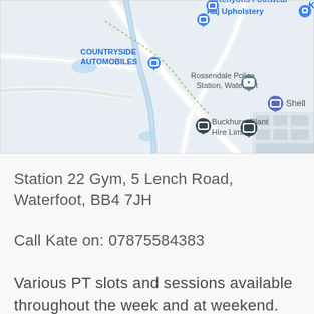[Figure (map): Google Maps screenshot showing Waterfoot area with markers for Kenyons Footwear, Raj Upholstery, Countryside Automobiles, Rossendale Police Station Waterfoot, Shell, and Buckhurst Plant Hire Limited. Roads and a river/stream visible.]
Station 22 Gym, 5 Lench Road, Waterfoot, BB4 7JH
Call Kate on: 07875584383
Various PT slots and sessions available throughout the week and at weekend. Get in touch for more information.